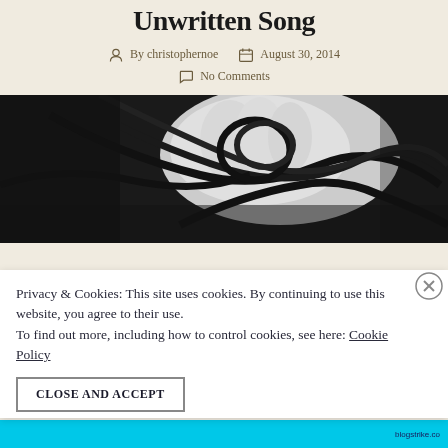Unwritten Song
By christophernoe   August 30, 2014
No Comments
[Figure (photo): Black and white close-up photograph of a hand holding tangled black cables or headphone wires]
Privacy & Cookies: This site uses cookies. By continuing to use this website, you agree to their use.
To find out more, including how to control cookies, see here: Cookie Policy
CLOSE AND ACCEPT